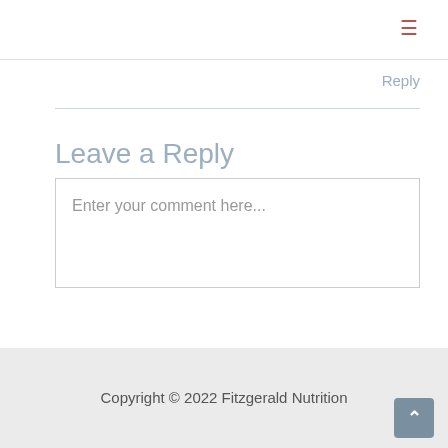≡
Reply
Leave a Reply
Enter your comment here...
Copyright © 2022 Fitzgerald Nutrition